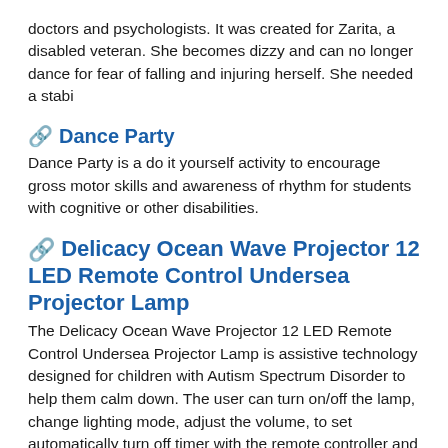doctors and psychologists. It was created for Zarita, a disabled veteran. She becomes dizzy and can no longer dance for fear of falling and injuring herself. She needed a stabi
Dance Party
Dance Party is a do it yourself activity to encourage gross motor skills and awareness of rhythm for students with cognitive or other disabilities.
Delicacy Ocean Wave Projector 12 LED Remote Control Undersea Projector Lamp
The Delicacy Ocean Wave Projector 12 LED Remote Control Undersea Projector Lamp is assistive technology designed for children with Autism Spectrum Disorder to help them calm down. The user can turn on/off the lamp, change lighting mode, adjust the volume, to set automatically turn off timer with the remote controller and touch sensor keys. The projector can be based on the user's needs 0-45 degrees tilt along the different directions upright or projection. Good for any festive party decorations